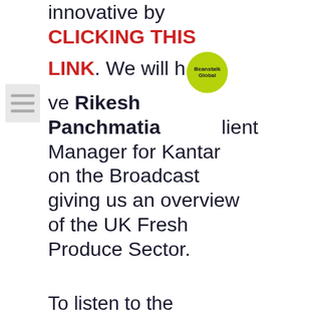innovative by CLICKING THIS LINK. We will have Rikesh Panchmatia [Beanstalk Global logo] Client Manager for Kantar on the Broadcast giving us an overview of the UK Fresh Produce Sector.
[Figure (logo): Beanstalk Global circular green logo overlaid on text]
To listen to the Broadcast, just click on the picture as below. To listen to the Podcast, just click on the Podcast icon.
[Figure (screenshot): Split-screen video still: left panel shows Beanstalk Global branded background with a man in a white shirt; right panel shows British Growers logo with a man in a pink shirt]